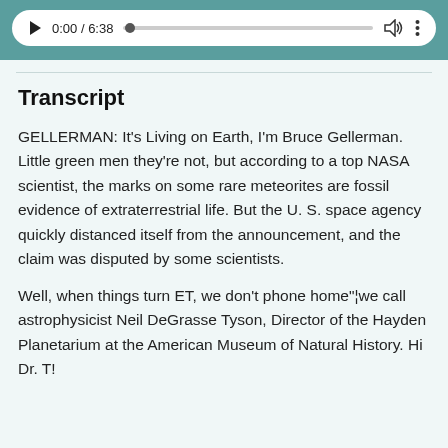[Figure (screenshot): Audio player UI with play button, time display showing 0:00 / 6:38, a progress bar with a dot at the start, a volume icon, and a more options (three dots) icon, all inside a white rounded rectangle on a teal/light green background.]
Transcript
GELLERMAN: It's Living on Earth, I'm Bruce Gellerman. Little green men they're not, but according to a top NASA scientist, the marks on some rare meteorites are fossil evidence of extraterrestrial life. But the U. S. space agency quickly distanced itself from the announcement, and the claim was disputed by some scientists.
Well, when things turn ET, we don't phone home"¦we call astrophysicist Neil DeGrasse Tyson, Director of the Hayden Planetarium at the American Museum of Natural History. Hi Dr. T!